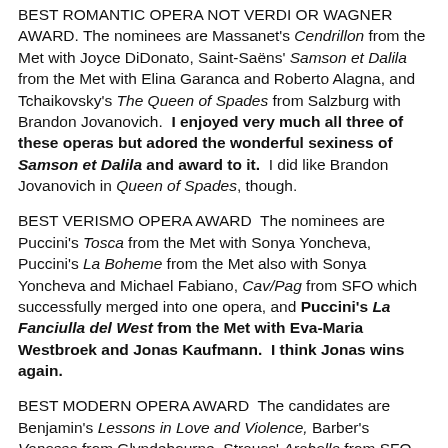BEST ROMANTIC OPERA NOT VERDI OR WAGNER AWARD. The nominees are Massanet's Cendrillon from the Met with Joyce DiDonato, Saint-Saëns' Samson et Dalila from the Met with Elina Garanca and Roberto Alagna, and Tchaikovsky's The Queen of Spades from Salzburg with Brandon Jovanovich.  I enjoyed very much all three of these operas but adored the wonderful sexiness of Samson et Dalila and award to it.  I did like Brandon Jovanovich in Queen of Spades, though.
BEST VERISMO OPERA AWARD  The nominees are Puccini's Tosca from the Met with Sonya Yoncheva, Puccini's La Boheme from the Met also with Sonya Yoncheva and Michael Fabiano, Cav/Pag from SFO which successfully merged into one opera, and Puccini's La Fanciulla del West from the Met with Eva-Maria Westbroek and Jonas Kaufmann.  I think Jonas wins again.
BEST MODERN OPERA AWARD  The candidates are Benjamin's Lessons in Love and Violence, Barber's Vanessa from Glyndebourne, Strauss' Arabella from SFO, Muhly's Marnie from the Met with Isabel Leonard and Heggie's It's a